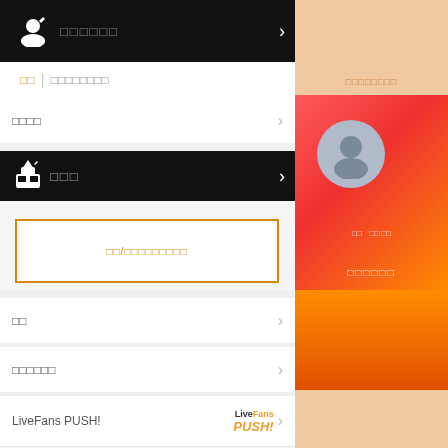[Figure (screenshot): Mobile app navigation menu screenshot with black header bars, menu rows with chevrons, orange-bordered input field, and LiveFans PUSH logo]
□□
□□□□□□
□□□□
□□□
□□/□□□□□□□□□
□□
□□□□□□
LiveFans PUSH!
□□□□□□□□□
□□□□
□□□□
□□ □□ □□
□□□□□□